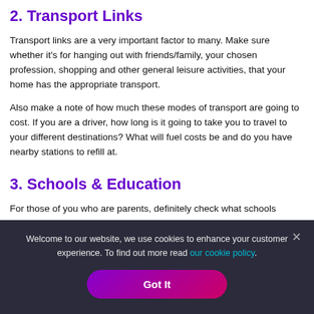2. Transport Links
Transport links are a very important factor to many. Make sure whether it's for hanging out with friends/family, your chosen profession, shopping and other general leisure activities, that your home has the appropriate transport.
Also make a note of how much these modes of transport are going to cost. If you are a driver, how long is it going to take you to travel to your different destinations? What will fuel costs be and do you have nearby stations to refill at.
3. Schools & Education
For those of you who are parents, definitely check what schools
Welcome to our website, we use cookies to enhance your customer experience. To find out more read our cookie policy.